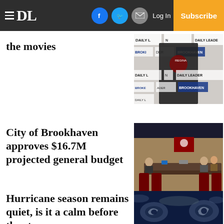DL | Log In | Subscribe
the movies
[Figure (photo): Person wearing a black t-shirt in front of Daily Leader / Brookhaven branded backdrop]
City of Brookhaven approves $16.7M projected general budget
[Figure (photo): City council meeting room with people seated at a long table, flag on wall]
Hurricane season remains quiet, is it a calm before the storm
[Figure (photo): Satellite view of hurricane systems over dark ocean]